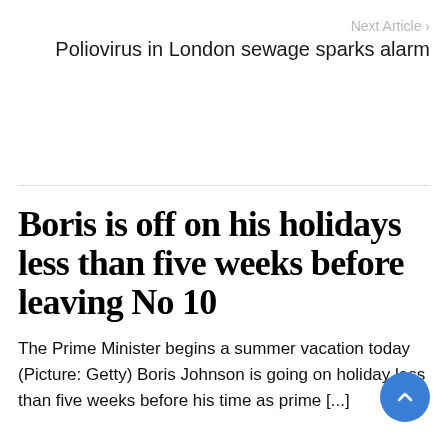Next Article ›
Poliovirus in London sewage sparks alarm
Boris is off on his holidays less than five weeks before leaving No 10
The Prime Minister begins a summer vacation today (Picture: Getty) Boris Johnson is going on holiday less than five weeks before his time as prime [...]